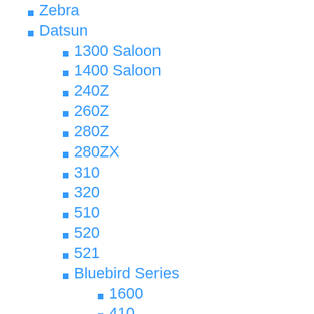Zebra
Datsun
1300 Saloon
1400 Saloon
240Z
260Z
280Z
280ZX
310
320
510
520
521
Bluebird Series
1600
410
411
510